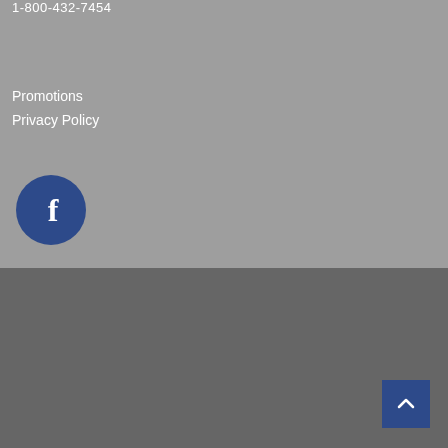1-800-432-7454
Promotions
Privacy Policy
[Figure (logo): Facebook logo — white 'f' on a dark blue circle]
Copyright © 2021 Maine Radio | MOTOROLA, MOTO, MOTOROLA SOLUTIONS and the Stylized M Logo are trademarks or registered trademarks of Motorola Trademark Holdings, LLC and are used under license. All other trademarks are the property of their respective owners. © 2021 Motorola Solutions, Inc. All rights reserved.